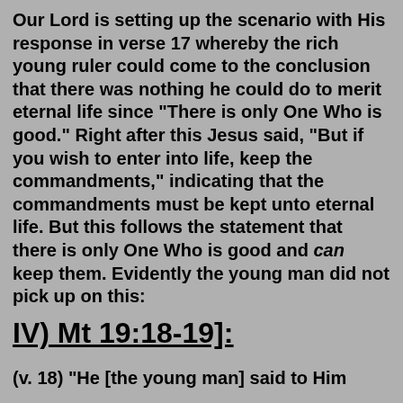Our Lord is setting up the scenario with His response in verse 17 whereby the rich young ruler could come to the conclusion that there was nothing he could do to merit eternal life since "There is only One Who is good." Right after this Jesus said, "But if you wish to enter into life, keep the commandments," indicating that the commandments must be kept unto eternal life. But this follows the statement that there is only One Who is good and can keep them. Evidently the young man did not pick up on this:
IV) Mt 19:18-19]:
(v. 18) "He [the young man] said to Him